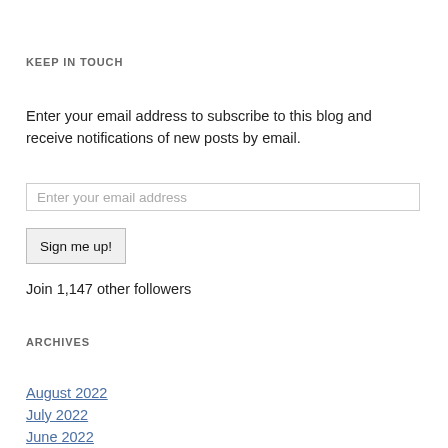KEEP IN TOUCH
Enter your email address to subscribe to this blog and receive notifications of new posts by email.
Enter your email address
Sign me up!
Join 1,147 other followers
ARCHIVES
August 2022
July 2022
June 2022